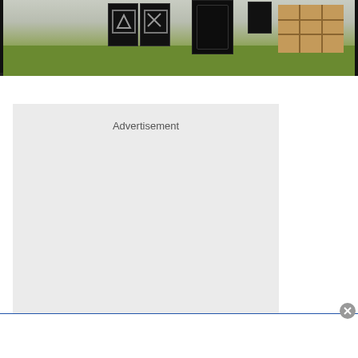[Figure (photo): Photograph of outdoor event setup with dark speaker/equipment boxes and wooden pallets on a grass field, shown as a cropped strip at top of page]
Advertisement
[Figure (other): Gray advertisement placeholder box]